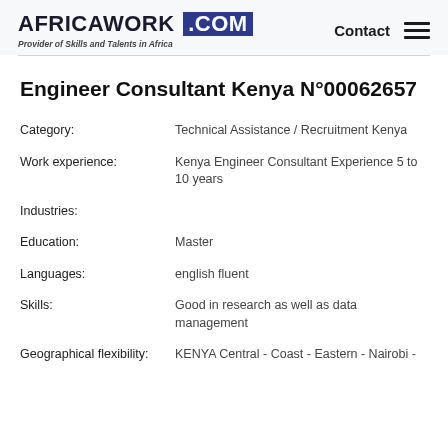AFRICAWORK .COM — Provider of Skills and Talents in Africa | Contact
Engineer Consultant Kenya N°00062657
| Field | Value |
| --- | --- |
| Category: | Technical Assistance / Recruitment Kenya |
| Work experience: | Kenya Engineer Consultant Experience 5 to 10 years |
| Industries: |  |
| Education: | Master |
| Languages: | english fluent |
| Skills: | Good in research as well as data management |
| Geographical flexibility: | KENYA Central - Coast - Eastern - Nairobi - |